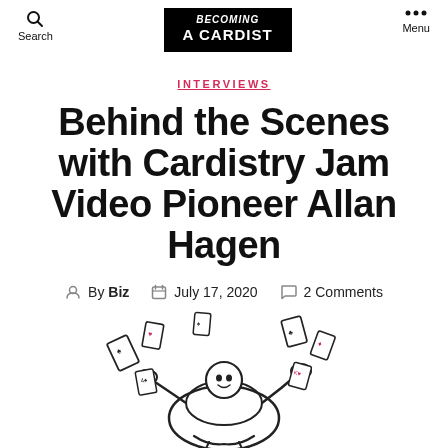Search | BECOMING A CARDIST | Menu
INTERVIEWS
Behind the Scenes with Cardistry Jam Video Pioneer Allan Hagen
By Biz  July 17, 2020  2 Comments
[Figure (illustration): Black and white illustration of a person doing cardistry with playing cards flying around]